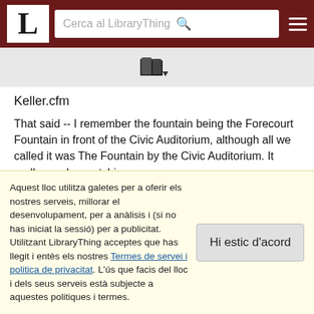LibraryThing — Cerca al LibraryThing
[Figure (screenshot): Books/library icon with dropdown arrow]
Keller.cfm
That said -- I remember the fountain being the Forecourt Fountain in front of the Civic Auditorium, although all we called it was The Fountain by the Civic Auditorium. It really needs a catchier name.
25  yangguy  juny 28, 2007, 9:43pm
Thank you, ggchickapee and teelgeel. I was never in Portland very
Aquest lloc utilitza galetes per a oferir els nostres serveis, millorar el desenvolupament, per a anàlisis i (si no has iniciat la sessió) per a publicitat. Utilitzant LibraryThing acceptes que has llegit i entès els nostres Termes de servei i politica de privacitat. L'ús que facis del lloc i dels seus serveis està subjecte a aquestes politiques i termes.